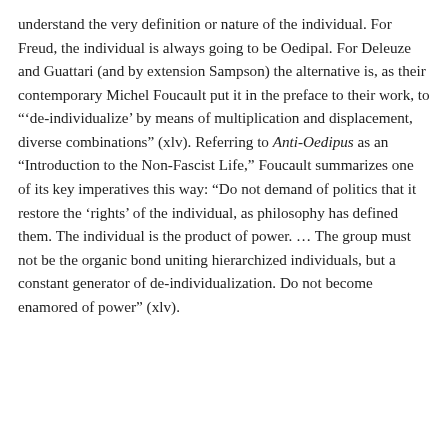understand the very definition or nature of the individual. For Freud, the individual is always going to be Oedipal. For Deleuze and Guattari (and by extension Sampson) the alternative is, as their contemporary Michel Foucault put it in the preface to their work, to "'de-individualize' by means of multiplication and displacement, diverse combinations" (xlv). Referring to Anti-Oedipus as an "Introduction to the Non-Fascist Life," Foucault summarizes one of its key imperatives this way: "Do not demand of politics that it restore the 'rights' of the individual, as philosophy has defined them. The individual is the product of power. ... The group must not be the organic bond uniting hierarchized individuals, but a constant generator of de-individualization. Do not become enamored of power" (xlv).